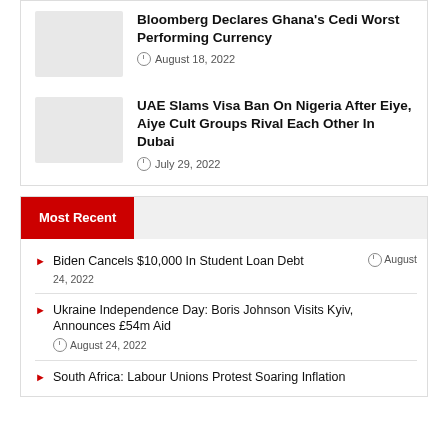[Figure (photo): Thumbnail image placeholder (light gray) for Bloomberg article]
Bloomberg Declares Ghana's Cedi Worst Performing Currency
August 18, 2022
[Figure (photo): Thumbnail image placeholder (light gray) for UAE article]
UAE Slams Visa Ban On Nigeria After Eiye, Aiye Cult Groups Rival Each Other In Dubai
July 29, 2022
Most Recent
Biden Cancels $10,000 In Student Loan Debt  August 24, 2022
Ukraine Independence Day: Boris Johnson Visits Kyiv, Announces £54m Aid  August 24, 2022
South Africa: Labour Unions Protest Soaring Inflation